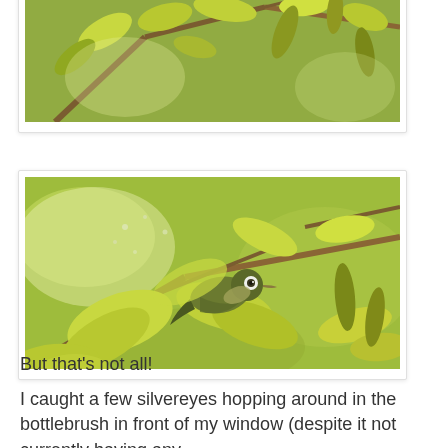[Figure (photo): Partial photo of tree branches with yellow-green leaves, cropped at top]
[Figure (photo): Photo of a silvereye bird perched among yellow-green bottlebrush leaves and branches, with a visible white eye ring]
But that's not all!
I caught a few silvereyes hopping around in the bottlebrush in front of my window (despite it not currently having any